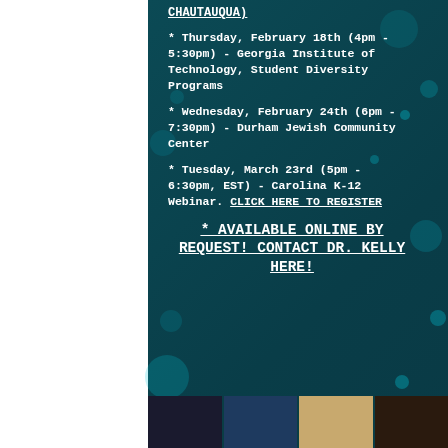CHAUTAUQUA)
* Thursday, February 18th (4pm - 5:30pm) - Georgia Institute of Technology, Student Diversity Programs
* Wednesday, February 24th (6pm - 7:30pm) - Durham Jewish Community Center
* Tuesday, March 23rd (5pm - 6:30pm, EST) - Carolina K-12 Webinar. CLICK HERE TO REGISTER
* AVAILABLE ONLINE BY REQUEST! CONTACT DR. KELLY HERE!